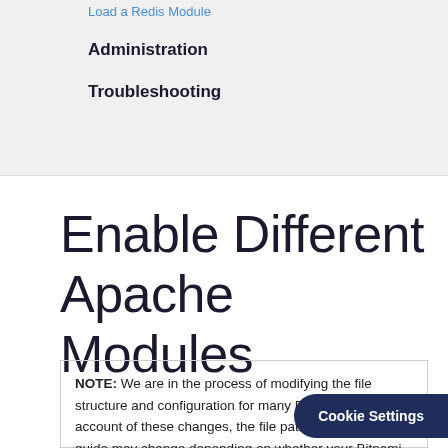Load a Redis Module
Administration
Troubleshooting
Enable Different Apache Modules
NOTE: We are in the process of modifying the file structure and configuration for many Bitnami stacks. On account of these changes, the file paths stated in this guide may change depending on whether your Bitnami stack uses native Linux system packages (Approach A), or if it is a self-contained installa… identify your Bitnami installation…